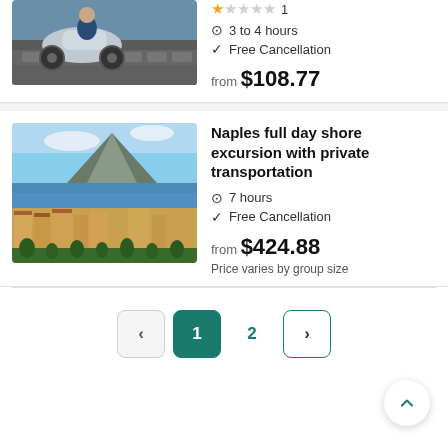[Figure (photo): Partial view of a person on a scooter/motorcycle on a cobblestone waterfront area]
★☆☆☆☆ 1
3 to 4 hours
Free Cancellation
from $108.77
[Figure (photo): Aerial panoramic view of Naples, Italy, showing the coastline, city buildings, and Mount Vesuvius in the background]
Naples full day shore excursion with private transportation
7 hours
Free Cancellation
from $424.88
Price varies by group size
< 1 2 >